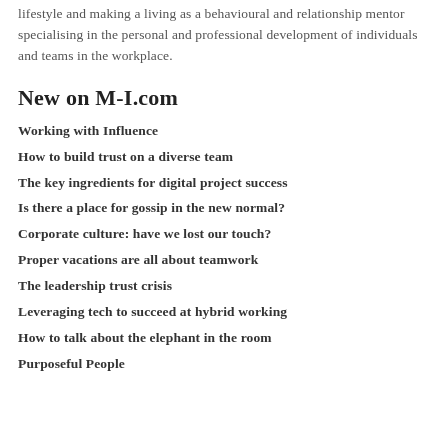lifestyle and making a living as a behavioural and relationship mentor specialising in the personal and professional development of individuals and teams in the workplace.
New on M-I.com
Working with Influence
How to build trust on a diverse team
The key ingredients for digital project success
Is there a place for gossip in the new normal?
Corporate culture: have we lost our touch?
Proper vacations are all about teamwork
The leadership trust crisis
Leveraging tech to succeed at hybrid working
How to talk about the elephant in the room
Purposeful People